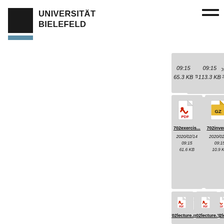[Figure (logo): Universität Bielefeld logo with black square and teal bar, text UNIVERSITÄT BIELEFELD]
[Figure (screenshot): File browser grid showing file cards with PDF and GZ icons, filenames (702exercis..., 702inversi..., 702lect..., 702lecture..., 702lecture..., 702lect...), dates 2020/02/14 09:15, and file sizes 65.3 KB, 113.3 KB, 59.7 KB(?), 61.6 KB, 10.9 KB, 659.1 KB(?)]